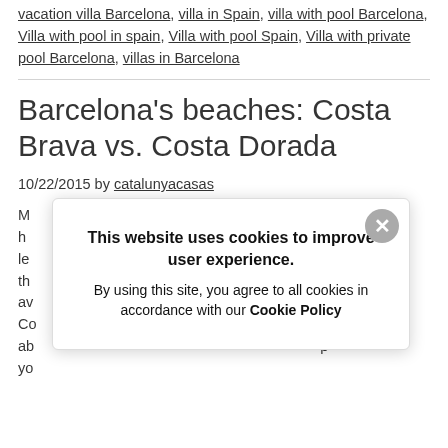vacation villa Barcelona, villa in Spain, villa with pool Barcelona, Villa with pool in spain, Villa with pool Spain, Villa with private pool Barcelona, villas in Barcelona
Barcelona's beaches: Costa Brava vs. Costa Dorada
10/22/2015 by catalunyacasas
M... (body text partially obscured by cookie overlay)
[Figure (screenshot): Cookie consent popup overlay reading: 'This website uses cookies to improve user experience. By using this site, you agree to all cookies in accordance with our Cookie Policy']